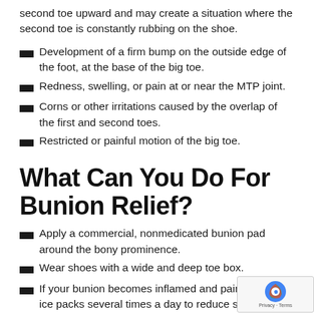second toe upward and may create a situation where the second toe is constantly rubbing on the shoe.
Development of a firm bump on the outside edge of the foot, at the base of the big toe.
Redness, swelling, or pain at or near the MTP joint.
Corns or other irritations caused by the overlap of the first and second toes.
Restricted or painful motion of the big toe.
What Can You Do For Bunion Relief?
Apply a commercial, nonmedicated bunion pad around the bony prominence.
Wear shoes with a wide and deep toe box.
If your bunion becomes inflamed and painful, apply ice packs several times a day to reduce swelling.